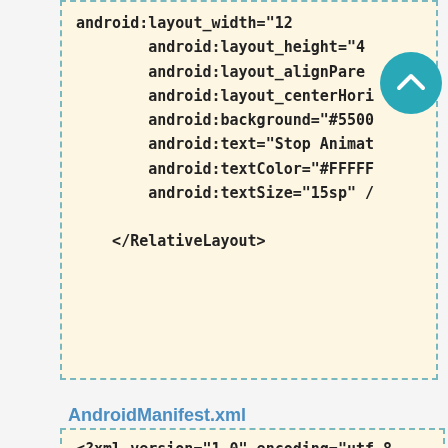android:layout_width="120
            android:layout_height="40
            android:layout_alignParen
            android:layout_centerHori
            android:background="#5500
            android:text="Stop Animat
            android:textColor="#FFFFF
            android:textSize="15sp" /

    </RelativeLayout>
AndroidManifest.xml
<?xml version="1.0" encoding="utf-8